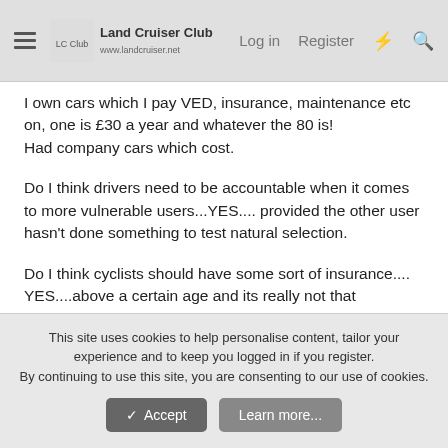Land Cruiser Club — Log in  Register
I own cars which I pay VED, insurance, maintenance etc on, one is £30 a year and whatever the 80 is!
Had company cars which cost.
Do I think drivers need to be accountable when it comes to more vulnerable users...YES.... provided the other user hasn't done something to test natural selection.
Do I think cyclists should have some sort of insurance....YES....above a certain age and its really not that expensive.
This site uses cookies to help personalise content, tailor your experience and to keep you logged in if you register.
By continuing to use this site, you are consenting to our use of cookies.